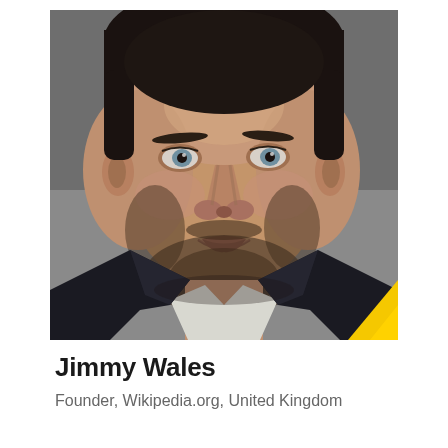[Figure (photo): Professional headshot of Jimmy Wales, a middle-aged man with dark hair and beard wearing a dark suit jacket and white shirt, photographed against a grey background. A yellow geometric corner accent appears in the lower right of the photo.]
Jimmy Wales
Founder, Wikipedia.org, United Kingdom